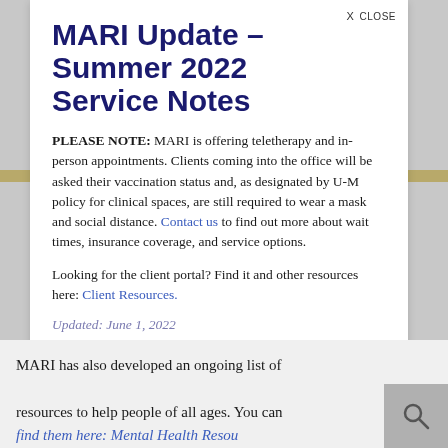MARI Update - Summer 2022 Service Notes
PLEASE NOTE: MARI is offering teletherapy and in-person appointments. Clients coming into the office will be asked their vaccination status and, as designated by U-M policy for clinical spaces, are still required to wear a mask and social distance. Contact us to find out more about wait times, insurance coverage, and service options.
Looking for the client portal? Find it and other resources here: Client Resources.
Updated: June 1, 2022
MARI has also developed an ongoing list of resources to help people of all ages. You can find them here: Mental Health Resources.